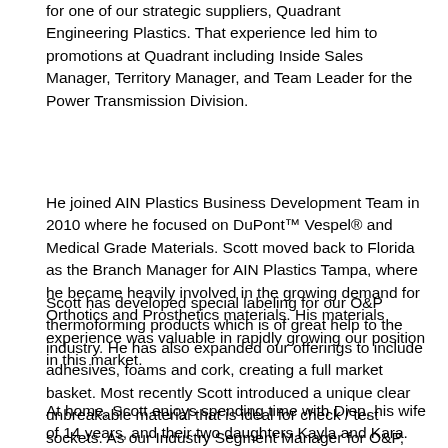for one of our strategic suppliers, Quadrant Engineering Plastics. That experience led him to promotions at Quadrant including Inside Sales Manager, Territory Manager, and Team Leader for the Power Transmission Division.
He joined AIN Plastics Business Development Team in 2010 where he focused on DuPont™ Vespel® and Medical Grade Materials. Scott moved back to Florida as the Branch Manager for AIN Plastics Tampa, where he became heavily involved in the growing demand for Orthotics and Prosthetics materials. His materials experience was valuable in rapidly growing our position in this market.
Scott has developed special labeling for our O&P thermoforming products which is of great help to the industry. He has also expanded our offerings to include adhesives, foams and cork, creating a full market basket. Most recently Scott introduced a unique clear unbreakable material that is ideal for check / test sockets. As our Industry Segment Manager for O&P, Scott spends his time working in the Field with our Sales team as well as managing the relationships with our National Accounts. Scott leads our efforts to bring AIN Plastics O&P Materials online as an OPIE Integrated Supplier.
At home, Scott enjoys spending time with Diep, his wife of 14 years, and their two daughters Kayla and Kara. He also finds time to continue